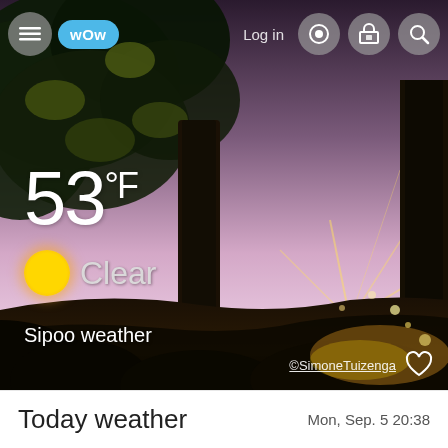[Figure (photo): Outdoor sunrise/sunset scene through trees with bright golden sun rays and silhouetted tree trunks, serving as weather app background]
53°F
Clear
Sipoo weather
©SimoneTuizenga
Today weather
Mon, Sep. 5 20:38